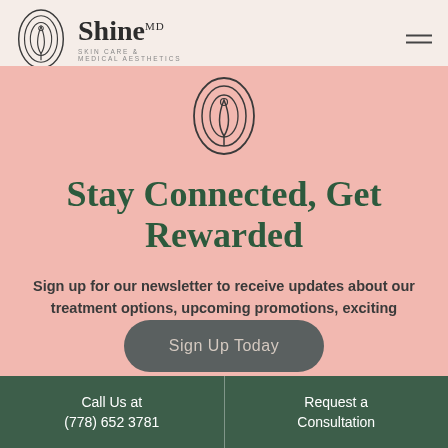[Figure (logo): Shine MD Skin Care & Medical Aesthetics logo with oval botanical emblem in top-left header]
[Figure (logo): Shine MD botanical oval logo centered in pink section]
Stay Connected, Get Rewarded
Sign up for our newsletter to receive updates about our treatment options, upcoming promotions, exciting anouncements, and more!
Sign Up Today
Call Us at (778) 652 3781
Request a Consultation